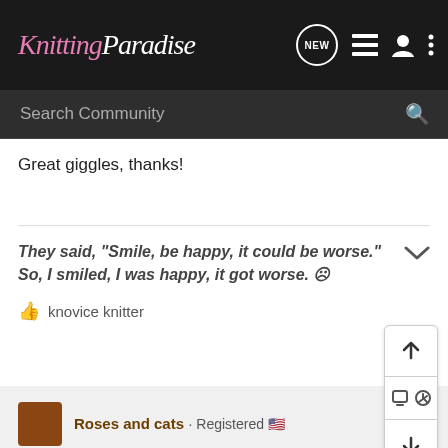Knitting Paradise — NEW, list, person, menu icons; Search Community bar
Great giggles, thanks!
They said, "Smile, be happy, it could be worse." So, I smiled, I was happy, it got worse. ☹
👍 knovice knitter
Roses and cats · Registered 🇺🇸